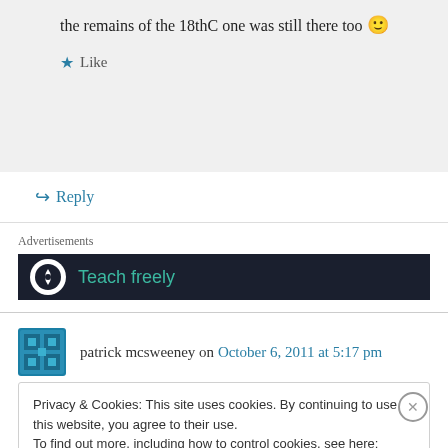the remains of the 18thC one was still there too 🙂
★ Like
↪ Reply
Advertisements
[Figure (other): Advertisement banner with dark background showing a circular icon and 'Teach freely' text in teal]
patrick mcsweeney on October 6, 2011 at 5:17 pm
Privacy & Cookies: This site uses cookies. By continuing to use this website, you agree to their use.
To find out more, including how to control cookies, see here: Cookie Policy